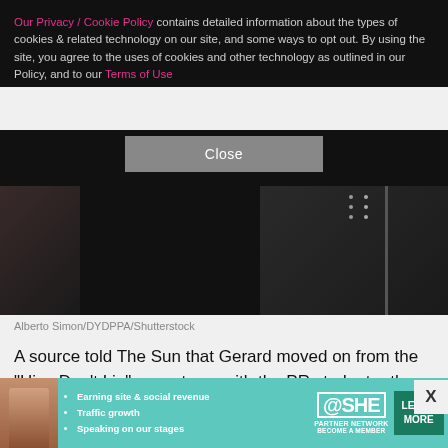Our Privacy / Cookie Policy contains detailed information about the types of cookies & related technology on our site, and some ways to opt out. By using the site, you agree to the uses of cookies and other technology as outlined in our Policy, and to our Terms of Use
[Figure (other): Close button on dark cookie consent banner]
[Figure (photo): Partial photo showing dark clothing, cropped]
Alberto Simon/DYDPPA/Shutterstock
A source told The Sun that Gerard moved on from the "Hips Don't Lie" songstress with the PR student rather quickly.
"Gerard and Clara have been seeing each other for months. She is a student who also works for him in hi
[Figure (infographic): SHE Partner Network advertisement banner: Earning site & social revenue, Traffic growth, Speaking on our stages. LEARN MORE button.]